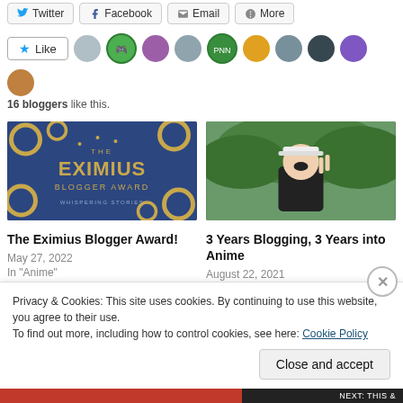[Figure (screenshot): Share buttons row: Twitter, Facebook, Email, More]
[Figure (screenshot): Like button with star icon and 10 blogger avatar thumbnails]
16 bloggers like this.
[Figure (photo): The Eximius Blogger Award graphic - dark blue background with gold rings and text]
The Eximius Blogger Award!
May 27, 2022
In "Anime"
[Figure (photo): Anime character photo - person in dark hoodie with white hat outdoors]
3 Years Blogging, 3 Years into Anime
August 22, 2021
In "Anime"
Privacy & Cookies: This site uses cookies. By continuing to use this website, you agree to their use.
To find out more, including how to control cookies, see here: Cookie Policy